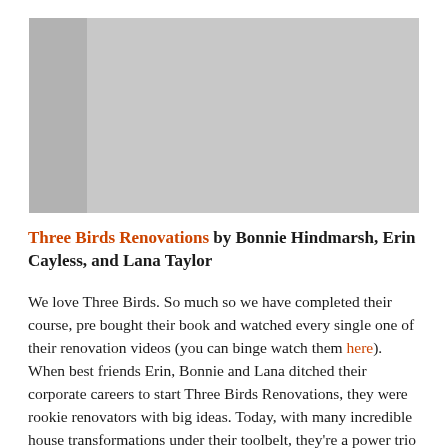[Figure (photo): Gray placeholder image representing a book cover photo]
Three Birds Renovations by Bonnie Hindmarsh, Erin Cayless, and Lana Taylor
We love Three Birds. So much so we have completed their course, pre bought their book and watched every single one of their renovation videos (you can binge watch them here). When best friends Erin, Bonnie and Lana ditched their corporate careers to start Three Birds Renovations, they were rookie renovators with big ideas. Today, with many incredible house transformations under their toolbelt, they're a power trio turning neighbourhood ugly ducklings into swans. If you lust over images of beautiful homes but feel stuck when it comes to your own space, these 'birds' have your back. The book is packed with gorgeous details